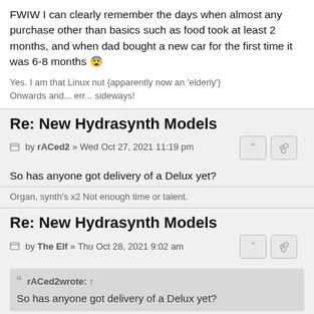FWIW I can clearly remember the days when almost any purchase other than basics such as food took at least 2 months, and when dad bought a new car for the first time it was 6-8 months 😲
Yes. I am that Linux nut {apparently now an 'elderly'}
Onwards and... err... sideways!
Re: New Hydrasynth Models
by rACed2 » Wed Oct 27, 2021 11:19 pm
So has anyone got delivery of a Delux yet?
Organ, synth's x2 Not enough time or talent.
Re: New Hydrasynth Models
by The Elf » Thu Oct 28, 2021 9:02 am
rACed2 wrote: ↑
So has anyone got delivery of a Delux yet?
The last communication I received told me that despatch had been brought forward from 10th December to 22nd October, but so far... nothing.